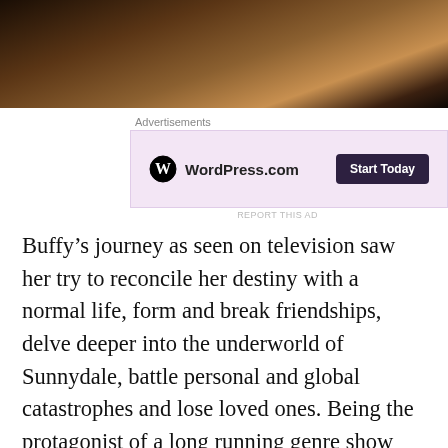[Figure (photo): Dark cinematic scene with figures, partial view at top of page]
Advertisements
[Figure (other): WordPress.com advertisement with pink background and 'Start Today' button]
REPORT THIS AD
Buffy’s journey as seen on television saw her try to reconcile her destiny with a normal life, form and break friendships, delve deeper into the underworld of Sunnydale, battle personal and global catastrophes and lose loved ones. Being the protagonist of a long running genre show means that her story gets taken to the extremes meaning that it can be hard to take her seriously
Advertisements
[Figure (other): Seamless food delivery advertisement with pizza image, red seamless logo, and ORDER NOW button]
REPORT THIS AD